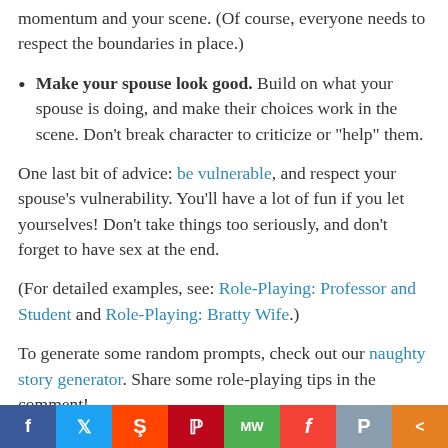momentum and your scene. (Of course, everyone needs to respect the boundaries in place.)
Make your spouse look good. Build on what your spouse is doing, and make their choices work in the scene. Don’t break character to criticize or “help” them.
One last bit of advice: be vulnerable, and respect your spouse’s vulnerability. You’ll have a lot of fun if you let yourselves! Don’t take things too seriously, and don’t forget to have sex at the end.
(For detailed examples, see: Role-Playing: Professor and Student and Role-Playing: Bratty Wife.)
To generate some random prompts, check out our naughty story generator. Share some role-playing tips in the comment!